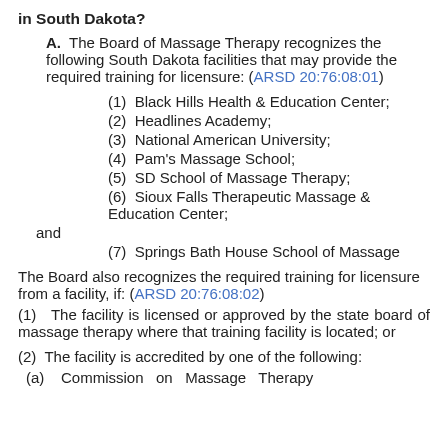in South Dakota?
A. The Board of Massage Therapy recognizes the following South Dakota facilities that may provide the required training for licensure: (ARSD 20:76:08:01)
(1) Black Hills Health & Education Center;
(2) Headlines Academy;
(3) National American University;
(4) Pam's Massage School;
(5) SD School of Massage Therapy;
(6) Sioux Falls Therapeutic Massage & Education Center; and
(7) Springs Bath House School of Massage
The Board also recognizes the required training for licensure from a facility, if: (ARSD 20:76:08:02)
(1) The facility is licensed or approved by the state board of massage therapy where that training facility is located; or
(2) The facility is accredited by one of the following:
(a) Commission on Massage Therapy